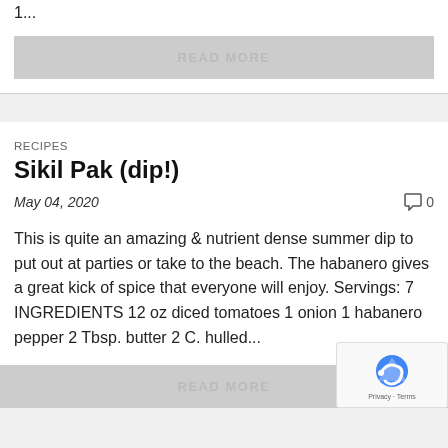1...
READ MORE
RECIPES
Sikil Pak (dip!)
May 04, 2020
0
This is quite an amazing & nutrient dense summer dip to put out at parties or take to the beach. The habanero gives a great kick of spice that everyone will enjoy. Servings: 7 INGREDIENTS 12 oz diced tomatoes 1 onion 1 habanero pepper 2 Tbsp. butter 2 C. hulled...
READ MORE